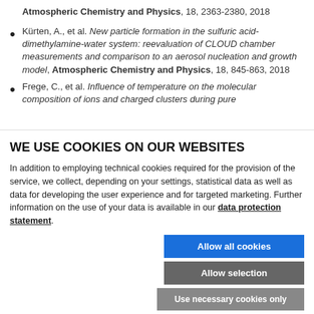Atmospheric Chemistry and Physics, 18, 2363-2380, 2018
Kürten, A., et al. New particle formation in the sulfuric acid-dimethylamine-water system: reevaluation of CLOUD chamber measurements and comparison to an aerosol nucleation and growth model, Atmospheric Chemistry and Physics, 18, 845-863, 2018
Frege, C., et al. Influence of temperature on the molecular composition of ions and charged clusters during pure
WE USE COOKIES ON OUR WEBSITES
In addition to employing technical cookies required for the provision of the service, we collect, depending on your settings, statistical data as well as data for developing the user experience and for targeted marketing. Further information on the use of your data is available in our data protection statement.